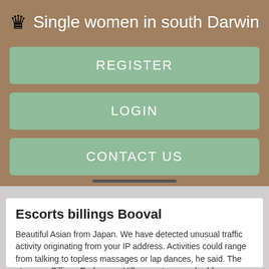♛ Single women in south Darwin
REGISTER
LOGIN
CONTACT US
Escorts billings Booval
Beautiful Asian from Japan. We have detected unusual traffic activity originating from your IP address. Activities could range from talking to topless massages or lap dances, he said. The store ran Billings Endeavour Hills escorts so we had few customer complaints.